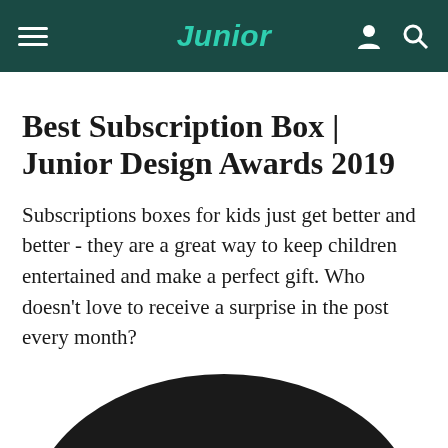Junior
Best Subscription Box | Junior Design Awards 2019
Subscriptions boxes for kids just get better and better - they are a great way to keep children entertained and make a perfect gift. Who doesn't love to receive a surprise in the post every month?
[Figure (logo): Junior magazine logo — black semicircle with white letterforms spelling 'Junior' partially visible]